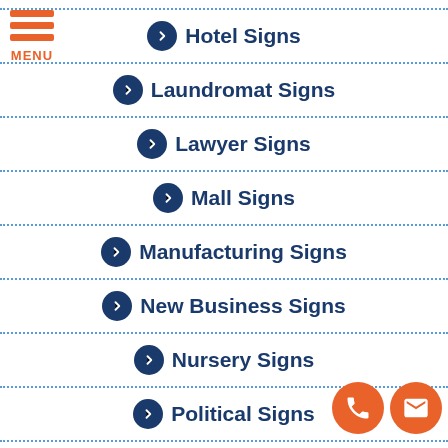[Figure (logo): Orange hamburger menu icon with three horizontal bars and MENU label]
Hotel Signs
Laundromat Signs
Lawyer Signs
Mall Signs
Manufacturing Signs
New Business Signs
Nursery Signs
Political Signs